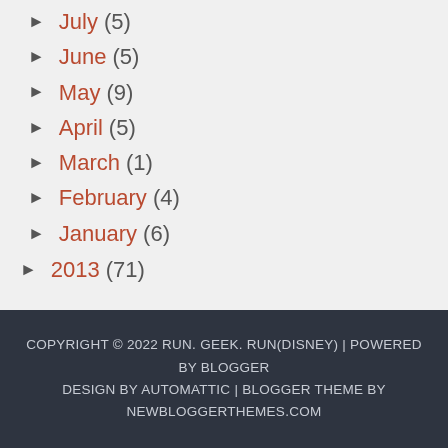► July (5)
► June (5)
► May (9)
► April (5)
► March (1)
► February (4)
► January (6)
► 2013 (71)
COPYRIGHT © 2022 RUN. GEEK. RUN(DISNEY) | POWERED BY BLOGGER DESIGN BY AUTOMATTIC | BLOGGER THEME BY NEWBLOGGERTHEMES.COM